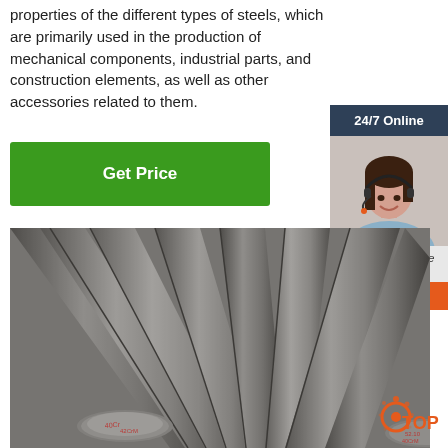properties of the different types of steels, which are primarily used in the production of mechanical components, industrial parts, and construction elements, as well as other accessories related to them.
[Figure (other): Green 'Get Price' button]
[Figure (other): 24/7 Online customer service sidebar with photo of woman with headset, 'Click here for free chat!' text, and orange QUOTATION button]
[Figure (photo): Photo of multiple round steel bars/rods stacked together, viewed from the end, with red markings on the faces]
[Figure (logo): TOP badge logo with orange dots]